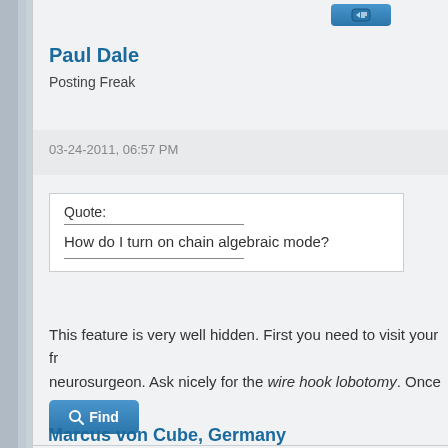Paul Dale
Posting Freak
03-24-2011, 06:57 PM
Quote:
How do I turn on chain algebraic mode?
This feature is very well hidden. First you need to visit your friendly neighbourhood neurosurgeon. Ask nicely for the wire hook lobotomy. Once t
;-)
- Pauli